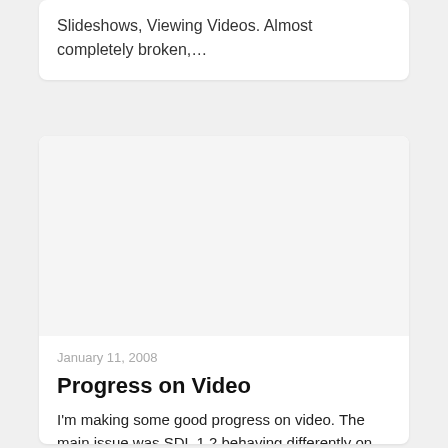Slideshows, Viewing Videos. Almost completely broken,...
[Figure (other): Large white/light gray blank image placeholder area]
January 11, 2008
Progress on Video
I'm making some good progress on video. The main issue was SDL 1.2 behaving differently on OS X, due